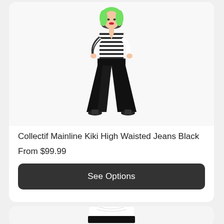[Figure (photo): Model wearing black high-waisted wide-leg jeans and black and white striped top with green hair, standing against a white background.]
Collectif Mainline Kiki High Waisted Jeans Black
From $99.99
See Options
[Figure (photo): Partial view of a second product card showing a close-up of black high-waisted pants with white shirt tuck, partially visible at bottom of page.]